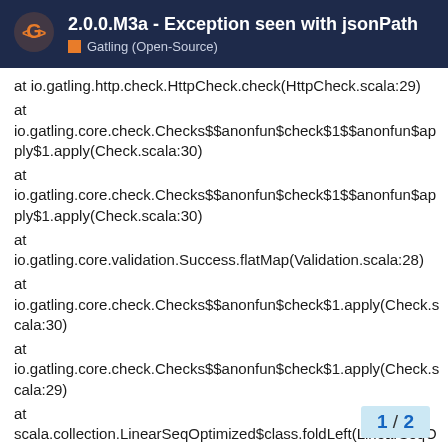2.0.0.M3a - Exception seen with jsonPath | Gatling (Open-Source)
at io.gatling.http.check.HttpCheck.check(HttpCheck.scala:29)
at
io.gatling.core.check.Checks$$anonfun$check$1$$anonfun$apply$1.apply(Check.scala:30)
at
io.gatling.core.check.Checks$$anonfun$check$1$$anonfun$apply$1.apply(Check.scala:30)
at
io.gatling.core.validation.Success.flatMap(Validation.scala:28)
at
io.gatling.core.check.Checks$$anonfun$check$1.apply(Check.scala:30)
at
io.gatling.core.check.Checks$$anonfun$check$1.apply(Check.scala:29)
at
scala.collection.LinearSeqOptimized$class.foldLeft(LinearSeqOptimized.scala:111)
at scala.collection.immutable.List.foldLef